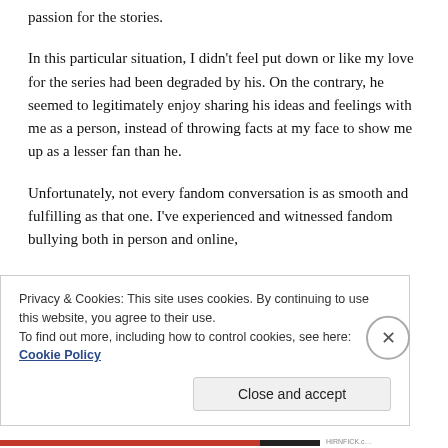passion for the stories.
In this particular situation, I didn't feel put down or like my love for the series had been degraded by his. On the contrary, he seemed to legitimately enjoy sharing his ideas and feelings with me as a person, instead of throwing facts at my face to show me up as a lesser fan than he.
Unfortunately, not every fandom conversation is as smooth and fulfilling as that one. I've experienced and witnessed fandom bullying both in person and online,
Privacy & Cookies: This site uses cookies. By continuing to use this website, you agree to their use.
To find out more, including how to control cookies, see here: Cookie Policy
Close and accept